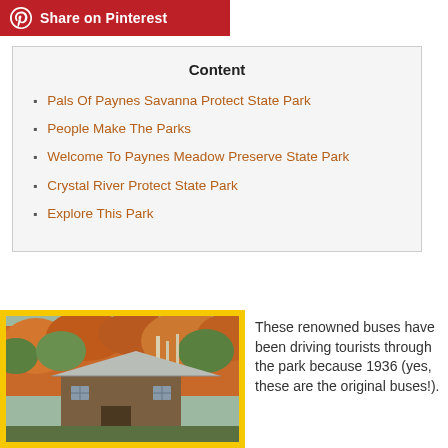[Figure (other): Pinterest share button with red background, white Pinterest logo icon, and white text 'Share on Pinterest']
Content
Pals Of Paynes Savanna Protect State Park
People Make The Parks
Welcome To Paynes Meadow Preserve State Park
Crystal River Protect State Park
Explore This Park
[Figure (photo): Photo of an old wooden barn/mill with a metal roof surrounded by autumn foliage trees in orange and green, set within a yellow border]
These renowned buses have been driving tourists through the park because 1936 (yes, these are the original buses!).